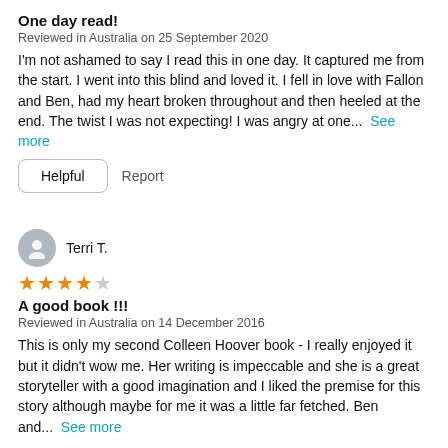One day read!
Reviewed in Australia on 25 September 2020
I'm not ashamed to say I read this in one day. It captured me from the start. I went into this blind and loved it. I fell in love with Fallon and Ben, had my heart broken throughout and then heeled at the end. The twist I was not expecting! I was angry at one...  See more
Helpful  Report
Terri T.
[Figure (other): 4 out of 5 stars rating]
A good book !!!
Reviewed in Australia on 14 December 2016
This is only my second Colleen Hoover book - I really enjoyed it but it didn't wow me. Her writing is impeccable and she is a great storyteller with a good imagination and I liked the premise for this story although maybe for me it was a little far fetched. Ben and...  See more